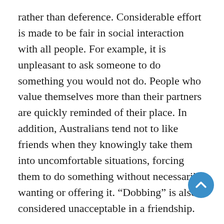rather than deference. Considerable effort is made to be fair in social interaction with all people. For example, it is unpleasant to ask someone to do something you would not do. People who value themselves more than their partners are quickly reminded of their place. In addition, Australians tend not to like friends when they knowingly take them into uncomfortable situations, forcing them to do something without necessarily wanting or offering it. “Dobbing” is also considered unacceptable in a friendship.
Australians seem to have a taste for those who seem simple and direct. They often consider simplicity as an endearing personal trait; Being called “classic” is a compliment among friends. On the other hand, people who show strong signs of intelligence or who are considered “educated” are more likely to be treated with suspicion or even resentment. This is linked to the high rate of the poppy syndrome, which causes rapid weight